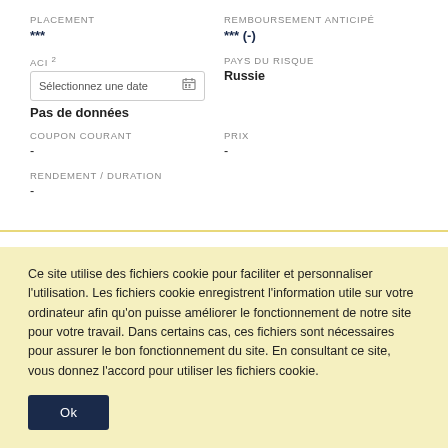PLACEMENT
***
REMBOURSEMENT ANTICIPÉ
*** (-)
ACI ²
PAYS DU RISQUE
Russie
Pas de données
COUPON COURANT
-
PRIX
-
RENDEMENT / DURATION
-
Ce site utilise des fichiers cookie pour faciliter et personnaliser l'utilisation. Les fichiers cookie enregistrent l'information utile sur votre ordinateur afin qu'on puisse améliorer le fonctionnement de notre site pour votre travail. Dans certains cas, ces fichiers sont nécessaires pour assurer le bon fonctionnement du site. En consultant ce site, vous donnez l'accord pour utiliser les fichiers cookie.
Ok